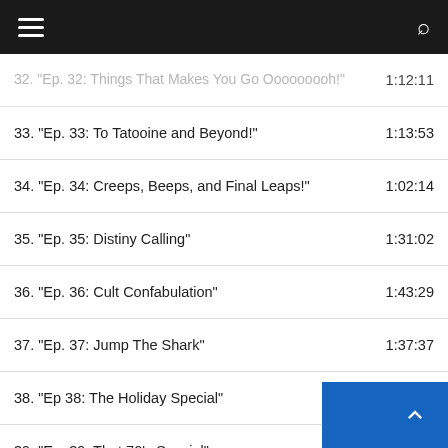≡  🔍
32. "Ep. 32: Things That Makes You Go Ooooooooh!" 1:12:11
33. "Ep. 33: To Tatooine and Beyond!" 1:13:53
34. "Ep. 34: Creeps, Beeps, and Final Leaps!" 1:02:14
35. "Ep. 35: Distiny Calling" 1:31:02
36. "Ep. 36: Cult Confabulation" 1:43:29
37. "Ep. 37: Jump The Shark" 1:37:37
38. "Ep 38: The Holiday Special" 1:23:29
39. "Ep. 39: That 70's Special" 1:11:39
40. "Ep. 40: The Son of That 70's Special" 1:15:27
41. "Ep. 41: The New Year's day After Tomorrow (UNC. 1:07:38
42. "Ep. 42: The Week After The New Year's Day After . 1:23:56
43. "Ep. 43: Moving into '22..." 1:35:31
44. "Ep 44: The Streets of Tatoophenia" 1:33:18
45. "Ep. 45: Don't Look Bacta Tank in Anger" 1:40:38
46. "Ep. 46: White Rabbits and Repeat Habits!" 1:15:18
47. "Ep. 47: From The Desert Comes Fan Service!" 1:...
48. "Ep. 48: In The Lame of Honour" 1:...
49. "Ep. 49: Vehicle Supremacy and Alien Residency" 1:22:56
50. "Ep. 50: 50 Shades of What We Say!" 1:09:48